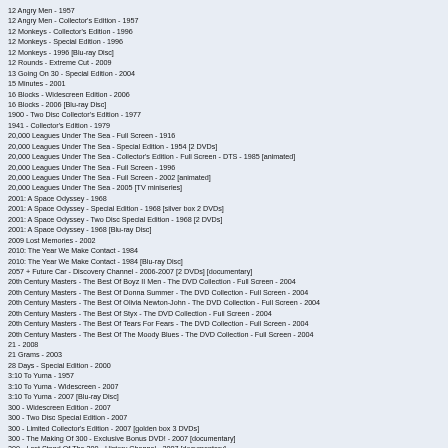12 Angry Men - 1957
12 Angry Men - Collector's Edition - 1957
12 Monkeys - Collector's Edition - 1996
12 Monkeys - Special Edition - 1996
12 Monkeys - 1996 [Blu-ray Disc]
12 Rounds - Extreme Cut - 2009
13 Going On 30 - Special Edition - 2004
15 Minutes - 2001
16 Blocks - Widescreen Edition - 2006
16 Blocks - 2006 [Blu-ray Disc]
1900 - Two Disc Collector's Edition - 1977
1941 - Collector's Edition - 1979
20,000 Leagues Under The Sea - Full Screen - 1916
20,000 Leagues Under The Sea - Special Edition - 1954 [2 DVDs]
20,000 Leagues Under The Sea - Collector's Edition - Full Screen - DTS - 1985 [animated]
20,000 Leagues Under The Sea - Full Screen - 1996
20,000 Leagues Under The Sea - Full Screen - 2002 [animated]
20,000 Leagues Under The Sea - 2005 [TV miniseries]
2001: A Space Odyssey - 1968
2001: A Space Odyssey - Special Edition - 1968 [silver box 2 DVDs]
2001: A Space Odyssey - Two Disc Special Edition - 1968 [2 DVDs]
2001: A Space Odyssey - 1968 [Blu-ray Disc]
2009 Lost Memories - 2002
2010: The Year We Make Contact - 1984
2010: The Year We Make Contact - 1984 [Blu-ray Disc]
2057 + Future Car - Discovery Channel - 2006-2007 [2 DVDs] [documentary]
20th Century Masters - The Best Of Boyz II Men - The DVD Collection - Full Screen - 2004
20th Century Masters - The Best Of Donna Summer - The DVD Collection - Full Screen - 2004
20th Century Masters - The Best Of Olivia Newton-John - The DVD Collection - Full Screen - 2004
20th Century Masters - The Best Of Styx - The DVD Collection - Full Screen - 2004
20th Century Masters - The Best Of Tears For Fears - The DVD Collection - Full Screen - 2004
20th Century Masters - The Best Of The Moody Blues - The DVD Collection - Full Screen - 2004
21 - 2008
21 Grams - 2003
28 Days - Special Edition - 2000
3:10 To Yuma - 1957
3:10 To Yuma - Widescreen - 2007
3:10 To Yuma - 2007 [Blu-ray Disc]
300 - Widescreen Edition - 2007
300 - Two Disc Special Edition - 2007
300 - Limited Collector's Edition - 2007 [golden box 3 DVDs]
300 - The Making Of 300 - Exclusive Bonus DVD! - 2007 [documentary]
300 - Last Stand Of The 300 - History Channel - 2007 [documentary]
300 - 2007 [tin box Blu-ray Disc]
300 - The Complete Experience - Book - 2007 [Blu-ray Disc]
300: Rise Of An Empire - 2014 [Blu-ray Disc + DVD]
3000 Miles To Graceland - 2001
40 Year Old Virgin - Unrated - Widescreen - 2005
42nd Grammy Awards - Full Screen - 2001
47 Ronin - 2013 [Blu-ray Disc + DVD]